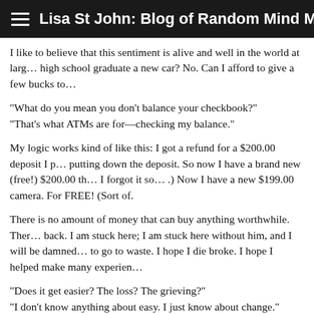Lisa St John: Blog of Random Mind Movements
I like to believe that this sentiment is alive and well in the world at large. Can I give a high school graduate a new car? No. Can I afford to give a few bucks to...
“What do you mean you don’t balance your checkbook?” “That’s what ATMs are for—checking my balance.”
My logic works kind of like this: I got a refund for a $200.00 deposit I p... putting down the deposit. So now I have a brand new (free!) $200.00 th... I forgot it so... .) Now I have a new $199.00 camera. For FREE! (Sort of.
There is no amount of money that can buy anything worthwhile. Ther... back. I am stuck here; I am stuck here without him, and I will be damned... to go to waste. I hope I die broke. I hope I helped make many experien...
“Does it get easier? The loss? The grieving?” “I don’t know anything about easy. I just know about change.”
p.s. My first chapbook, Ponderings, will be out at the end of this month... Press. Buy it. And if you can’t let yourself laugh at weird, stupid stuff lik...
[Figure (photo): A photo of green leafy plants/vines with what appears to be a cat or animal partially visible at the bottom, outdoors in natural light.]